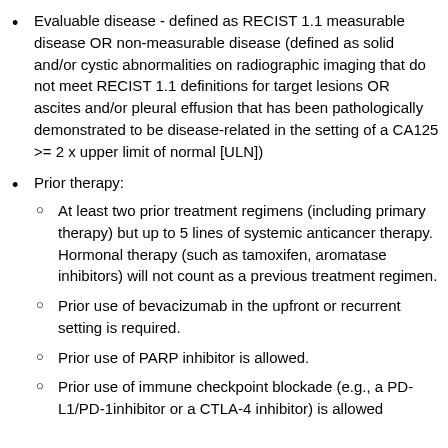Evaluable disease - defined as RECIST 1.1 measurable disease OR non-measurable disease (defined as solid and/or cystic abnormalities on radiographic imaging that do not meet RECIST 1.1 definitions for target lesions OR ascites and/or pleural effusion that has been pathologically demonstrated to be disease-related in the setting of a CA125 >= 2 x upper limit of normal [ULN])
Prior therapy:
At least two prior treatment regimens (including primary therapy) but up to 5 lines of systemic anticancer therapy. Hormonal therapy (such as tamoxifen, aromatase inhibitors) will not count as a previous treatment regimen.
Prior use of bevacizumab in the upfront or recurrent setting is required.
Prior use of PARP inhibitor is allowed.
Prior use of immune checkpoint blockade (e.g., a PD-L1/PD-1inhibitor or a CTLA-4 inhibitor) is allowed